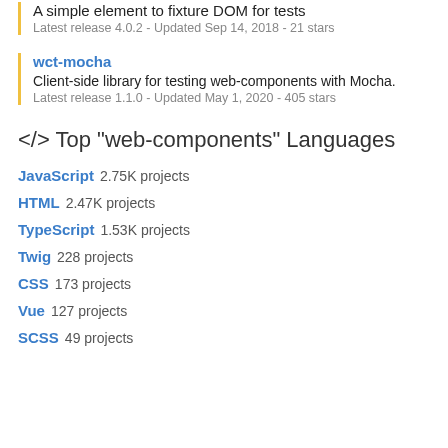A simple element to fixture DOM for tests
Latest release 4.0.2 - Updated Sep 14, 2018 - 21 stars
wct-mocha
Client-side library for testing web-components with Mocha.
Latest release 1.1.0 - Updated May 1, 2020 - 405 stars
</> Top "web-components" Languages
JavaScript  2.75K projects
HTML  2.47K projects
TypeScript  1.53K projects
Twig  228 projects
CSS  173 projects
Vue  127 projects
SCSS  49 projects